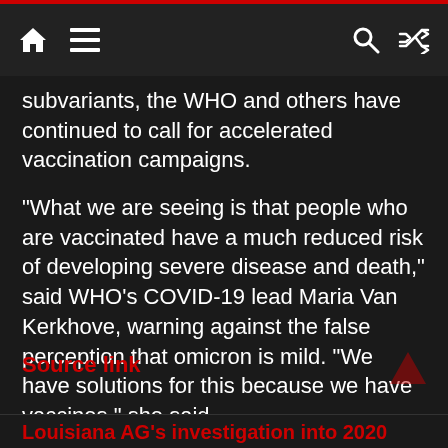[nav bar with home, menu, search, shuffle icons]
subvariants, the WHO and others have continued to call for accelerated vaccination campaigns.
“What we are seeing is that people who are vaccinated have a much reduced risk of developing severe disease and death,” said WHO’s COVID-19 lead Maria Van Kerkhove, warning against the false perception that omicron is mild. “We have solutions for this because we have vaccines,” she said.
Source link
Louisiana AG’s investigation into 2020